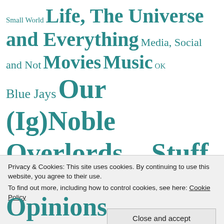Small World Life, The Universe and Everything Media, Social and Not Movies Music OK Blue Jays Our (Ig)Noble Overlords Stage Stuff Wot I Made Up The Final Frontier The Little Voice The Universe and Everything The
Privacy & Cookies: This site uses cookies. By continuing to use this website, you agree to their use. To find out more, including how to control cookies, see here: Cookie Policy
Close and accept
Opinions